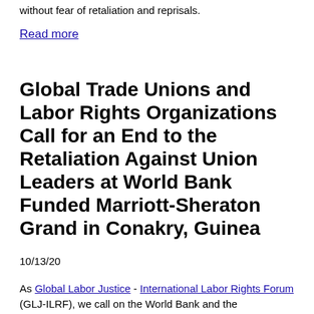without fear of retaliation and reprisals.
Read more
Global Trade Unions and Labor Rights Organizations Call for an End to the Retaliation Against Union Leaders at World Bank Funded Marriott-Sheraton Grand in Conakry, Guinea
10/13/20
As Global Labor Justice - International Labor Rights Forum (GLJ-ILRF), we call on the World Bank and the